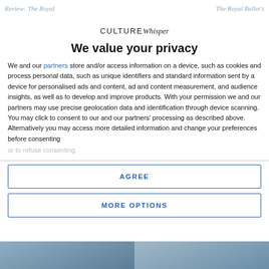Review: The Royal   The Royal Ballet's
We value your privacy
We and our partners store and/or access information on a device, such as cookies and process personal data, such as unique identifiers and standard information sent by a device for personalised ads and content, ad and content measurement, and audience insights, as well as to develop and improve products. With your permission we and our partners may use precise geolocation data and identification through device scanning. You may click to consent to our and our partners' processing as described above. Alternatively you may access more detailed information and change your preferences before consenting or to refuse consenting.
AGREE
MORE OPTIONS